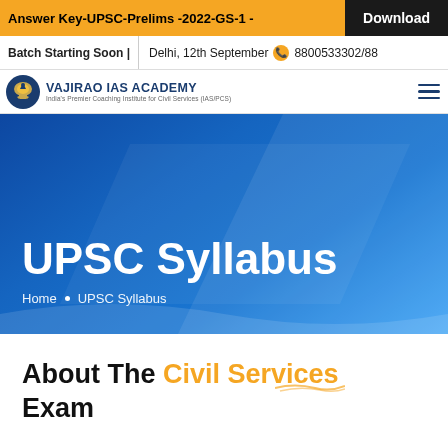Answer Key-UPSC-Prelims -2022-GS-1 -  Download
Batch Starting Soon |  Delhi, 12th September  8800533302/88
[Figure (logo): Vajirao IAS Academy logo with eagle emblem and tagline: India's Premier Coaching Institute for Civil Services (IAS/PCS)]
UPSC Syllabus
Home . UPSC Syllabus
About The Civil Services Exam